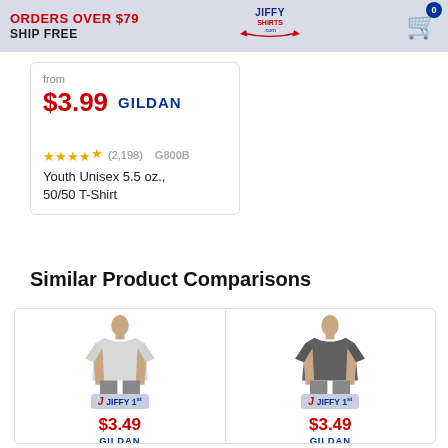ORDERS OVER $79 SHIP FREE | JiffyShirts.com | Cart (0)
from
$3.99 GILDAN
★★★★½ (2,198)  G800B
Youth Unisex 5.5 oz., 50/50 T-Shirt
Similar Product Comparisons
$3.49 GILDAN
$3.49 GILDAN